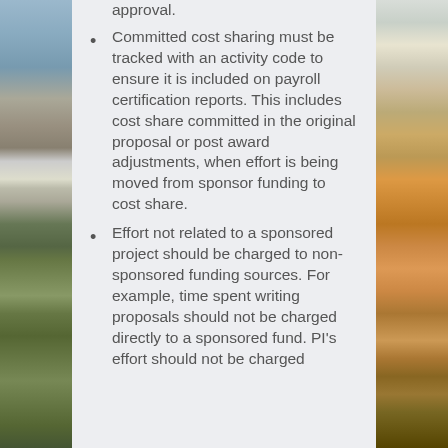approval.
Committed cost sharing must be tracked with an activity code to ensure it is included on payroll certification reports. This includes cost share committed in the original proposal or post award adjustments, when effort is being moved from sponsor funding to cost share.
Effort not related to a sponsored project should be charged to non-sponsored funding sources. For example, time spent writing proposals should not be charged directly to a sponsored fund. PI's effort should not be charged